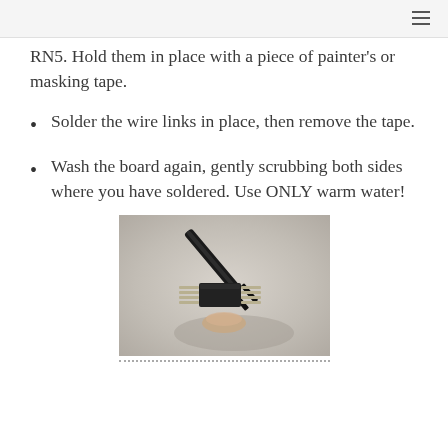RN5. Hold them in place with a piece of painter's or masking tape.
Solder the wire links in place, then remove the tape.
Wash the board again, gently scrubbing both sides where you have soldered. Use ONLY warm water!
[Figure (photo): A photo of electronic component (IC chip or header) being held by tweezers, showing pins/leads, on a blurred neutral background.]